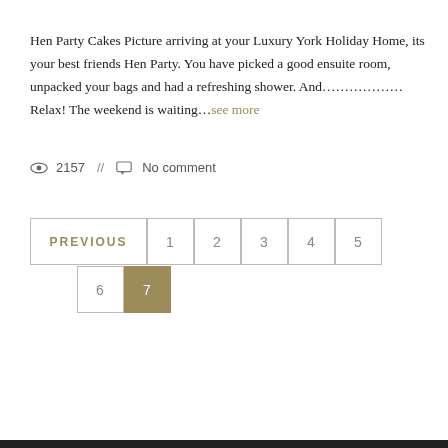Hen Party Cakes Picture arriving at your Luxury York Holiday Home, its your best friends Hen Party. You have picked a good ensuite room, unpacked your bags and had a refreshing shower. And………………Relax! The weekend is waiting…see more
2157 // No comment
PREVIOUS 1 2 3 4 5 6 7